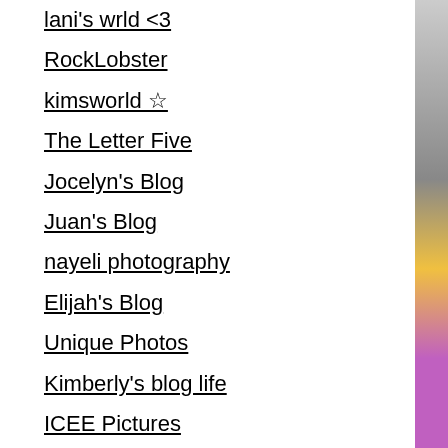lani's wrld <3
RockLobster
kimsworld ☆
The Letter Five
Jocelyn's Blog
Juan's Blog
nayeli photography
Elijah's Blog
Unique Photos
Kimberly's blog life
ICEE Pictures
amadeus blog
Ari's Blog
Yazleen's Blog
Perry the photographer
Gojo's My Exception
alexmadeitright